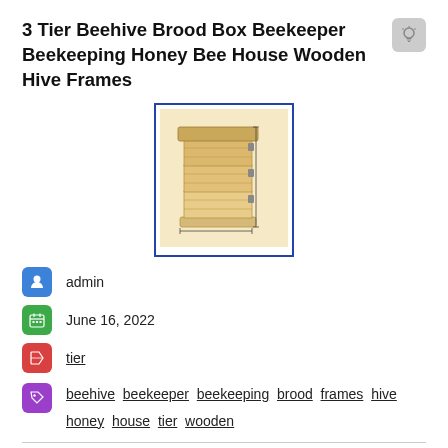3 Tier Beehive Brood Box Beekeeper Beekeeping Honey Bee House Wooden Hive Frames
[Figure (photo): Thumbnail photo of a 3-tier wooden beehive brood box with dimension lines, shown in a blue-bordered frame]
admin
June 16, 2022
tier
beehive  beekeeper  beekeeping  brood  frames  hive  honey  house  tier  wooden
[Figure (photo): Partial photo of the top of the wooden 3-tier beehive brood box with dimension lines, shown in blue-bordered frame at bottom of page]